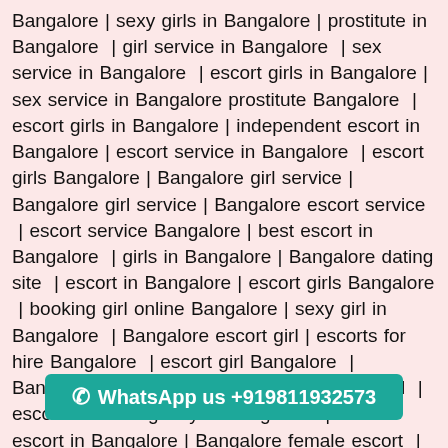Bangalore | sexy girls in Bangalore | prostitute in Bangalore | girl service in Bangalore | sex service in Bangalore | escort girls in Bangalore | sex service in Bangalore prostitute Bangalore | escort girls in Bangalore | independent escort in Bangalore | escort service in Bangalore | escort girls Bangalore | Bangalore girl service | Bangalore girl service | Bangalore escort service | escort service Bangalore | best escort in Bangalore | girls in Bangalore | Bangalore dating site | escort in Bangalore | escort girls Bangalore | booking girl online Bangalore | sexy girl in Bangalore | Bangalore escort girl | escorts for hire Bangalore | escort girl Bangalore | Bangalore escort agency | Bangalore sexy girl | escorts escort agency in Bangalore | female escort in Bangalore | Bangalore female escort | indian escort Bangalore | Bangalore girls | escort in Bangalore | escort agency in Bangalore | Bangalore girls | girls in Bangalore | escort service Bangalore | escort Bangalore | girl in Bangalore | indian escorts in Bangalore Bangalore Escorts Agency
[Figure (infographic): WhatsApp contact bar with teal background showing WhatsApp icon and phone number +919811932573]